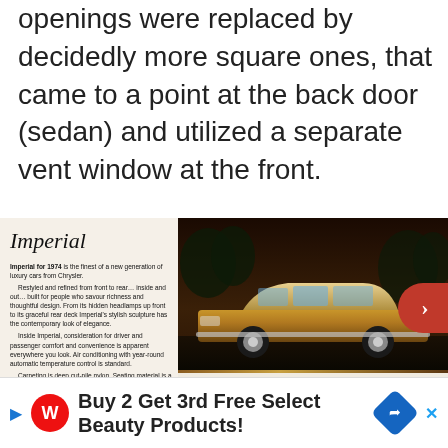openings were replaced by decidedly more square ones, that came to a point at the back door (sedan) and utilized a separate vent window at the front.
[Figure (photo): Scanned page from an Imperial (Chrysler) car brochure circa 1974 showing the Imperial Le Baron 4-Door Hardtop exterior in gold/bronze color and interior shot with leather seating, alongside advertising text describing luxury features.]
[Figure (photo): Walgreens advertisement banner: Buy 2 Get 3rd Free Select Beauty Products!]